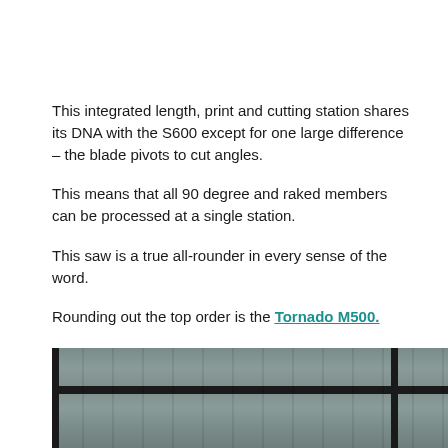This integrated length, print and cutting station shares its DNA with the S600 except for one large difference – the blade pivots to cut angles.
This means that all 90 degree and raked members can be processed at a single station.
This saw is a true all-rounder in every sense of the word.
Rounding out the top order is the Tornado M500.
[Figure (photo): Photograph of metal roofing or cladding panels with vertical striping and horizontal dark bar, viewed from below or angle.]